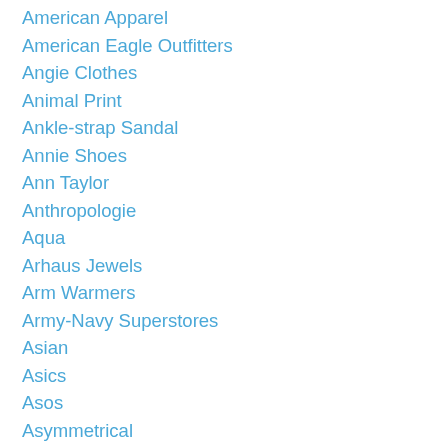American Apparel
American Eagle Outfitters
Angie Clothes
Animal Print
Ankle-strap Sandal
Annie Shoes
Ann Taylor
Anthropologie
Aqua
Arhaus Jewels
Arm Warmers
Army-Navy Superstores
Asian
Asics
Asos
Asymmetrical
Athleta
Aventura
Backcountry
Back Detailed Top
Back-detailed Top